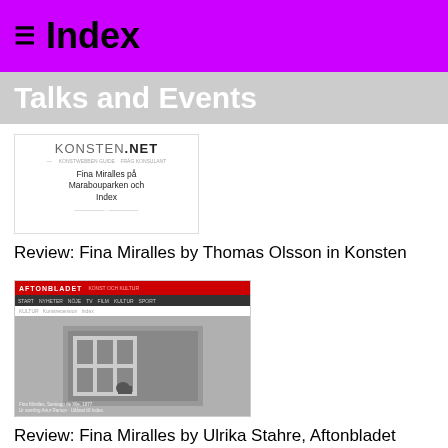≡ Index
Talks and Events
[Figure (screenshot): Screenshot of KONSTEN.NET website showing article about Fina Miralles på Marabouparken och Index]
Review: Fina Miralles by Thomas Olsson in Konsten
[Figure (screenshot): Screenshot of Aftonbladet website with black and white photo of Fina Miralles artwork]
Review: Fina Miralles by Ulrika Stahre, Aftonbladet
[Figure (photo): Photo of Index exhibition poster on building exterior showing TRAGEDY text on purple/pink background]